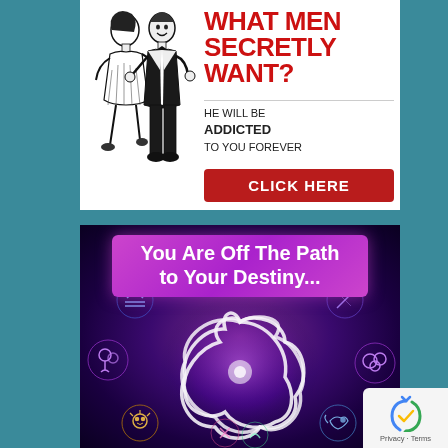[Figure (illustration): Advertisement with retro black-and-white illustration of a couple dancing (man in tuxedo, woman in dress). Red bold text reads 'WHAT MEN SECRETLY WANT?' with subtext 'HE WILL BE ADDICTED TO YOU FOREVER' and a red button 'CLICK HERE'.]
[Figure (illustration): Advertisement with purple/cosmic background showing zodiac symbols arranged in a circle around a white Celtic/triquetra knot symbol. Pink banner text reads 'You Are Off The Path to Your Destiny...']